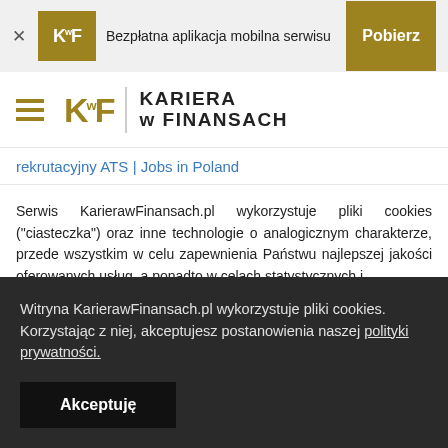[Figure (logo): KwF logo banner with 'Bezpłatna aplikacja mobilna serwisu' text and 'Pobierz' button]
[Figure (logo): KwF Kariera w Finansach navigation bar with hamburger menu]
rekrutacyjny ATS | Jobs in Poland
Serwis KarierawFinansach.pl wykorzystuje pliki cookies ("ciasteczka") oraz inne technologie o analogicznym charakterze, przede wszystkim w celu zapewnienia Państwu najlepszej jakości oferowanych usług, a ponadto w celach statystycznych i
Witryna KarierawFinansach.pl wykorzystuje pliki cookies. Korzystając z niej, akceptujesz postanowienia naszej polityki prywatności.
Akceptuję